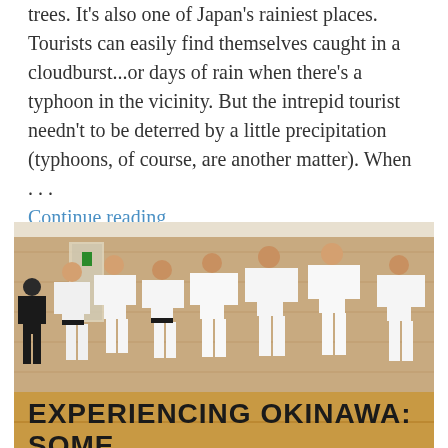trees. It's also one of Japan's rainiest places. Tourists can easily find themselves caught in a cloudburst...or days of rain when there's a typhoon in the vicinity. But the intrepid tourist needn't to be deterred by a little precipitation (typhoons, of course, are another matter). When … Continue reading
[Figure (photo): Group of people in white karate uniforms (gi) practicing martial arts in a dojo with wooden floor and brick wall background.]
EXPERIENCING OKINAWA: SOME